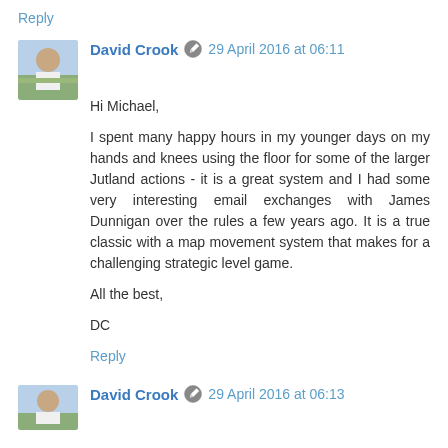Reply
David Crook  29 April 2016 at 06:11
Hi Michael,

I spent many happy hours in my younger days on my hands and knees using the floor for some of the larger Jutland actions - it is a great system and I had some very interesting email exchanges with James Dunnigan over the rules a few years ago. It is a true classic with a map movement system that makes for a challenging strategic level game.

All the best,

DC
Reply
David Crook  29 April 2016 at 06:13